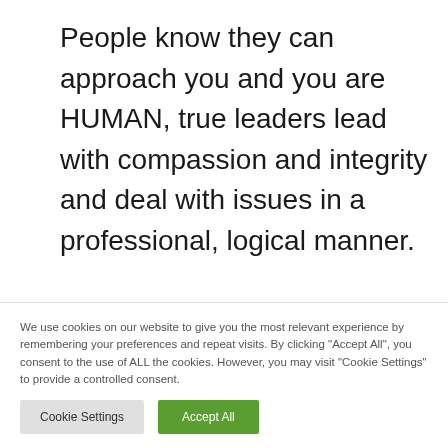People know they can approach you and you are HUMAN, true leaders lead with compassion and integrity and deal with issues in a professional, logical manner.

So you see, the importance of leadership in business must never be underestimated.
We use cookies on our website to give you the most relevant experience by remembering your preferences and repeat visits. By clicking "Accept All", you consent to the use of ALL the cookies. However, you may visit "Cookie Settings" to provide a controlled consent.